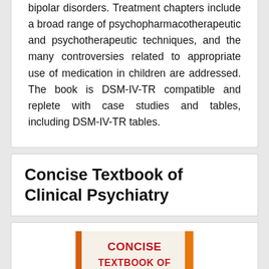bipolar disorders. Treatment chapters include a broad range of psychopharmacotherapeutic and psychotherapeutic techniques, and the many controversies related to appropriate use of medication in children are addressed. The book is DSM-IV-TR compatible and replete with case studies and tables, including DSM-IV-TR tables.
Concise Textbook of Clinical Psychiatry
[Figure (photo): Book cover of 'Concise Textbook of Clinical Psychiatry' with orange border and red text on white background]